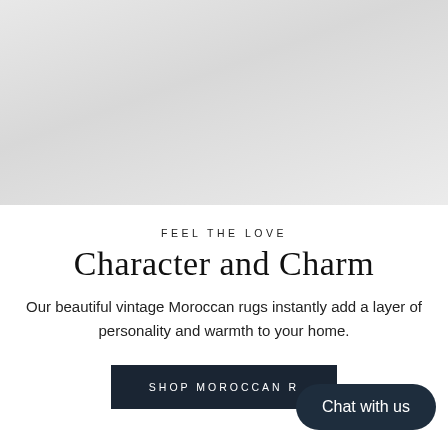[Figure (photo): Light grey background hero image, appears to show a faint interior/rug scene with soft gradient lighting]
FEEL THE LOVE
Character and Charm
Our beautiful vintage Moroccan rugs instantly add a layer of personality and warmth to your home.
SHOP MOROCCAN R
Chat with us